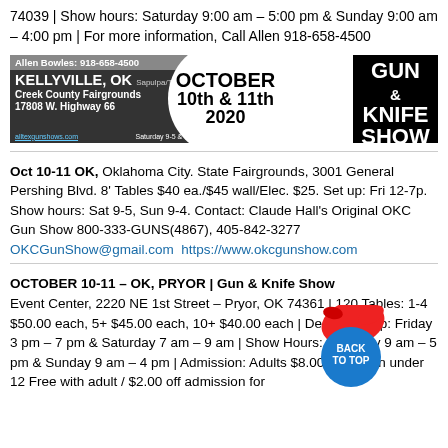74039 | Show hours: Saturday 9:00 am – 5:00 pm & Sunday 9:00 am – 4:00 pm | For more information, Call Allen 918-658-4500
[Figure (infographic): Advertisement banner for Kellyville OK Gun & Knife Show, October 10th & 11th 2020, Creek County Fairgrounds, 17808 W. Highway 66. Allen Bowles: 918-658-4500. alltexgunshows.com]
Oct 10-11 OK, Oklahoma City. State Fairgrounds, 3001 General Pershing Blvd. 8' Tables $40 ea./$45 wall/Elec. $25. Set up: Fri 12-7p. Show hours: Sat 9-5, Sun 9-4. Contact: Claude Hall's Original OKC Gun Show 800-333-GUNS(4867), 405-842-3277 OKCGunShow@gmail.com https://www.okcgunshow.com
[Figure (infographic): Back to Top splash graphic in blue and red]
OCTOBER 10-11 – OK, PRYOR | Gun & Knife Show
Event Center, 2220 NE 1st Street – Pryor, OK 74361 | 120 Tables: 1-4 $50.00 each, 5+ $45.00 each, 10+ $40.00 each | Dealer Set up: Friday 3 pm – 7 pm  &  Saturday 7 am – 9 am | Show Hours: Saturday 9 am – 5 pm  &  Sunday 9 am – 4 pm | Admission: Adults $8.00 / Children under 12 Free with adult / $2.00 off admission for